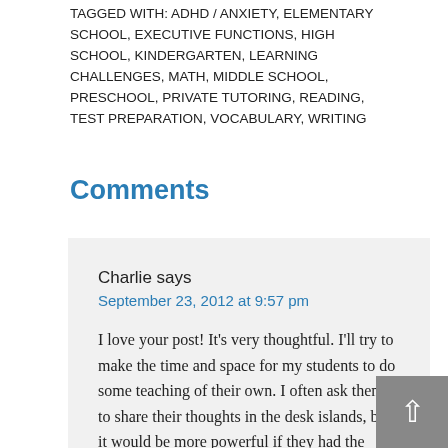TAGGED WITH: ADHD / ANXIETY, ELEMENTARY SCHOOL, EXECUTIVE FUNCTIONS, HIGH SCHOOL, KINDERGARTEN, LEARNING CHALLENGES, MATH, MIDDLE SCHOOL, PRESCHOOL, PRIVATE TUTORING, READING, TEST PREPARATION, VOCABULARY, WRITING
Comments
Charlie says
September 23, 2012 at 9:57 pm
I love your post! It's very thoughtful. I'll try to make the time and space for my students to do some teaching of their own. I often ask them to share their thoughts in the desk islands, but it would be more powerful if they had the responsibility of explaining to a larger group